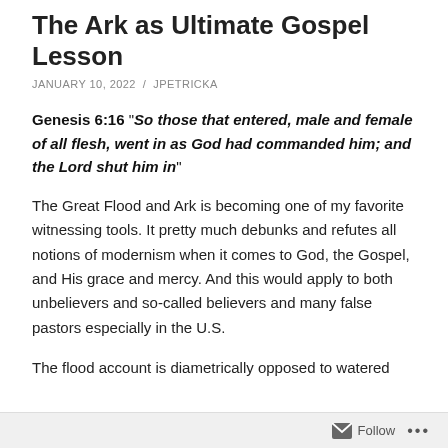The Ark as Ultimate Gospel Lesson
JANUARY 10, 2022 / JPETRICKA
Genesis 6:16 "So those that entered, male and female of all flesh, went in as God had commanded him; and the Lord shut him in"
The Great Flood and Ark is becoming one of my favorite witnessing tools. It pretty much debunks and refutes all notions of modernism when it comes to God, the Gospel, and His grace and mercy. And this would apply to both unbelievers and so-called believers and many false pastors especially in the U.S.
The flood account is diametrically opposed to watered
Follow